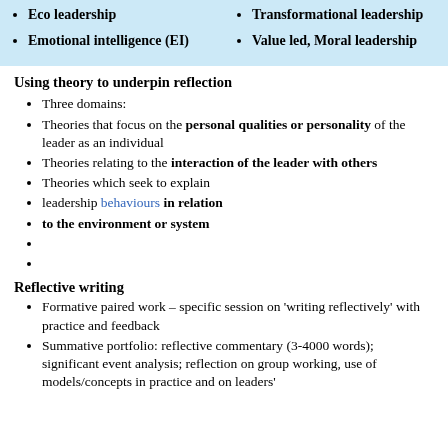Eco leadership
Transformational leadership
Emotional intelligence (EI)
Value led, Moral leadership
Using theory to underpin reflection
Three domains:
Theories that focus on the personal qualities or personality of the leader as an individual
Theories relating to the interaction of the leader with others
Theories which seek to explain
leadership behaviours in relation
to the environment or system
Reflective writing
Formative paired work – specific session on ‘writing reflectively’ with practice and feedback
Summative portfolio: reflective commentary (3-4000 words); significant event analysis; reflection on group working, use of models/concepts in practice and on leaders'